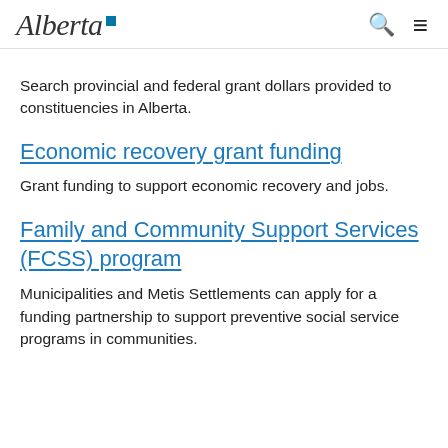Alberta [logo]
Search provincial and federal grant dollars provided to constituencies in Alberta.
Economic recovery grant funding
Grant funding to support economic recovery and jobs.
Family and Community Support Services (FCSS) program
Municipalities and Metis Settlements can apply for a funding partnership to support preventive social service programs in communities.